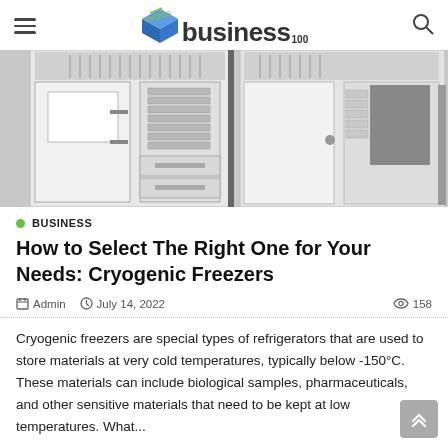business100 [logo with hamburger menu and search icon]
[Figure (photo): Two cryogenic freezer units shown open, revealing internal shelving and storage drawers, rendered in grayscale illustration style.]
BUSINESS
How to Select The Right One for Your Needs: Cryogenic Freezers
Admin   July 14, 2022   158
Cryogenic freezers are special types of refrigerators that are used to store materials at very cold temperatures, typically below -150°C. These materials can include biological samples, pharmaceuticals, and other sensitive materials that need to be kept at low temperatures. What...